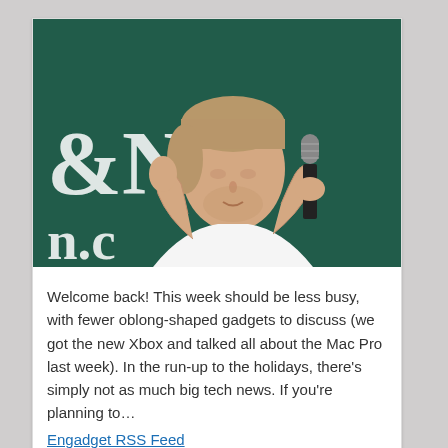[Figure (photo): Young man with light brown hair holding a microphone, wearing a white long-sleeve shirt, standing in front of a dark green Barnes & Noble background with partial text '&NO' and 'n.c' visible]
Welcome back! This week should be less busy, with fewer oblong-shaped gadgets to discuss (we got the new Xbox and talked all about the Mac Pro last week). In the run-up to the holidays, there's simply not as much big tech news. If you're planning to…
Engadget RSS Feed